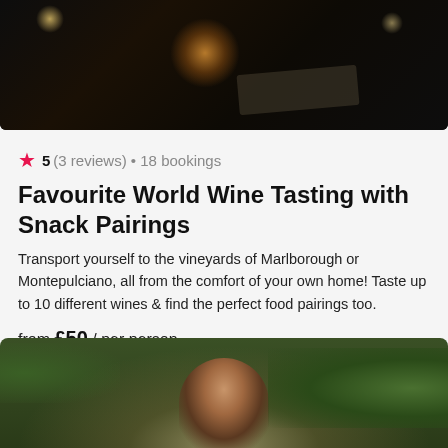[Figure (photo): Dark atmospheric photo showing warm glowing lights against a dark background, likely an indoor wine tasting setting with bokeh lighting effects]
★ 5 (3 reviews) • 18 bookings
Favourite World Wine Tasting with Snack Pairings
Transport yourself to the vineyards of Marlborough or Montepulciano, all from the comfort of your own home! Taste up to 10 different wines & find the perfect food pairings too.
from £50 / per person
[Figure (photo): Photo of a smiling man holding a cocktail shaker, outdoors with green foliage in the background]